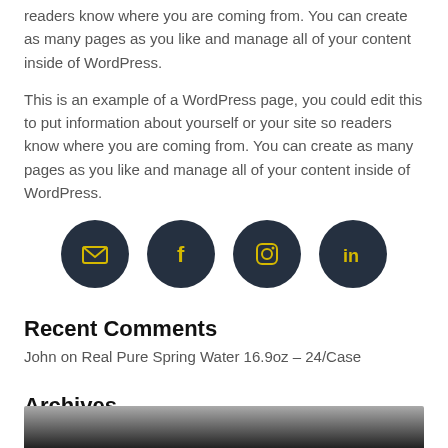readers know where you are coming from. You can create as many pages as you like and manage all of your content inside of WordPress.
This is an example of a WordPress page, you could edit this to put information about yourself or your site so readers know where you are coming from. You can create as many pages as you like and manage all of your content inside of WordPress.
[Figure (infographic): Row of four dark circular social media icon buttons: email (envelope), Facebook (f), Instagram (camera), LinkedIn (in), with yellow icons on dark navy background.]
Recent Comments
John on Real Pure Spring Water 16.9oz – 24/Case
Archives
[Figure (photo): Bottom portion of a dark gradient image, fading from gray to near black.]